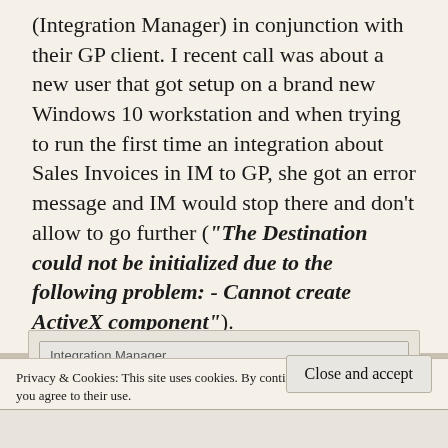(Integration Manager) in conjunction with their GP client. I recent call was about a new user that got setup on a brand new Windows 10 workstation and when trying to run the first time an integration about Sales Invoices in IM to GP, she got an error message and IM would stop there and don’t allow to go further (“The Destination could not be initialized due to the following problem: - Cannot create ActiveX component”).
[Figure (screenshot): Integration Manager dialog box showing: title bar 'Integration Manager', body text 'The destination could not be initialized due to the following']
Privacy & Cookies: This site uses cookies. By continuing to use this website, you agree to their use.
To find out more, including how to control cookies, see here:
Cookie Policy